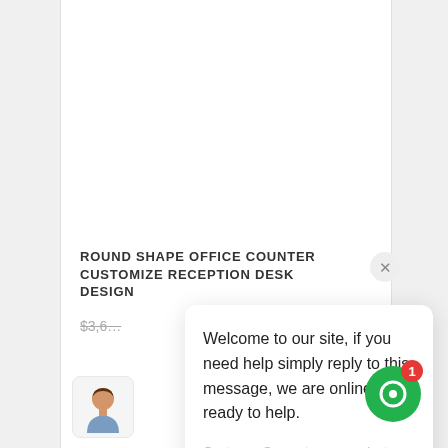ROUND SHAPE OFFICE COUNTER CUSTOMIZE RECEPTION DESK DESIGN
$3,6…
[Figure (screenshot): Chat popup with avatar and support message: Welcome to our site, if you need help simply reply to this message, we are online and ready to help. Customer Support — just now]
[Figure (illustration): Green chat widget button with red notification badge showing 1]